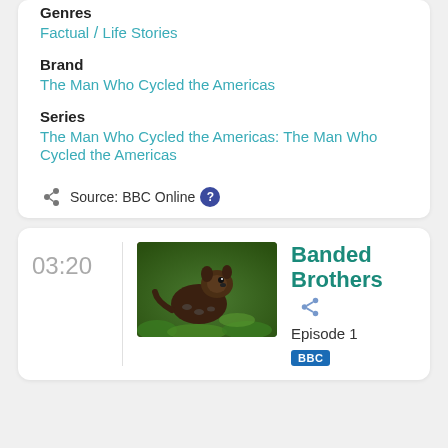Genres
Factual / Life Stories
Brand
The Man Who Cycled the Americas
Series
The Man Who Cycled the Americas: The Man Who Cycled the Americas
Source: BBC Online
03:20
[Figure (photo): A banded mongoose animal on green foliage]
Banded Brothers
Episode 1